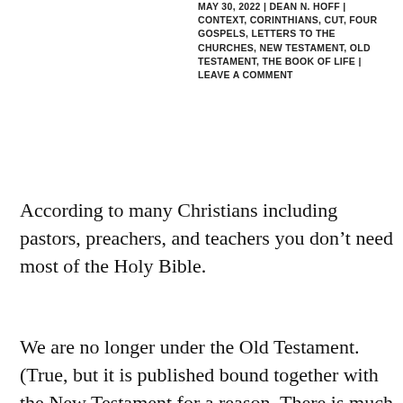MAY 30, 2022 | DEAN N. HOFF | CONTEXT, CORINTHIANS, CUT, FOUR GOSPELS, LETTERS TO THE CHURCHES, NEW TESTAMENT, OLD TESTAMENT, THE BOOK OF LIFE | LEAVE A COMMENT
According to many Christians including pastors, preachers, and teachers you don’t need most of the Holy Bible.
We are no longer under the Old Testament. (True, but it is published bound together with the New Testament for a reason. There is much to learn from the Old Testament and parts of it including the Ten Commandments are incorporated into the New.) So, cut